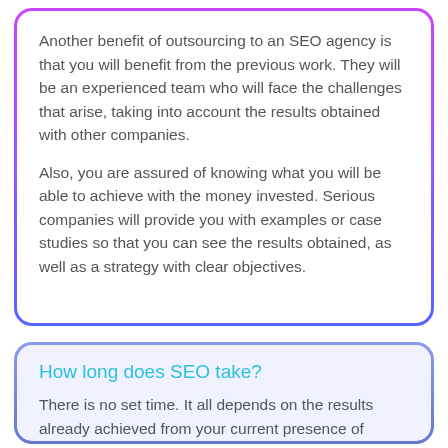Another benefit of outsourcing to an SEO agency is that you will benefit from the previous work. They will be an experienced team who will face the challenges that arise, taking into account the results obtained with other companies.
Also, you are assured of knowing what you will be able to achieve with the money invested. Serious companies will provide you with examples or case studies so that you can see the results obtained, as well as a strategy with clear objectives.
How long does SEO take?
There is no set time. It all depends on the results already achieved from your current presence of